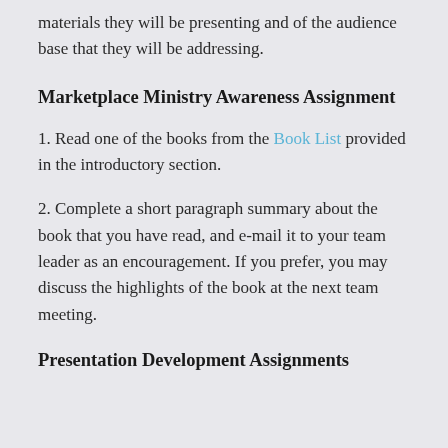materials they will be presenting and of the audience base that they will be addressing.
Marketplace Ministry Awareness Assignment
1. Read one of the books from the Book List provided in the introductory section.
2. Complete a short paragraph summary about the book that you have read, and e-mail it to your team leader as an encouragement. If you prefer, you may discuss the highlights of the book at the next team meeting.
Presentation Development Assignments